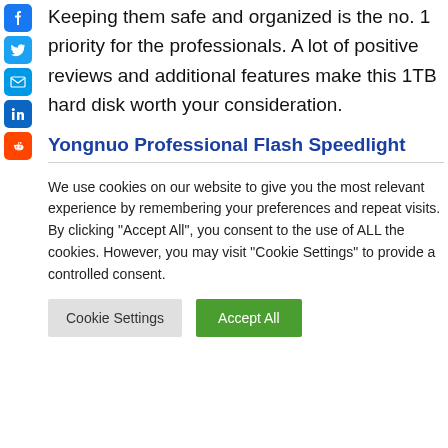Keeping them safe and organized is the no. 1 priority for the professionals. A lot of positive reviews and additional features make this 1TB hard disk worth your consideration.
Yongnuo Professional Flash Speedlight
We use cookies on our website to give you the most relevant experience by remembering your preferences and repeat visits. By clicking "Accept All", you consent to the use of ALL the cookies. However, you may visit "Cookie Settings" to provide a controlled consent.